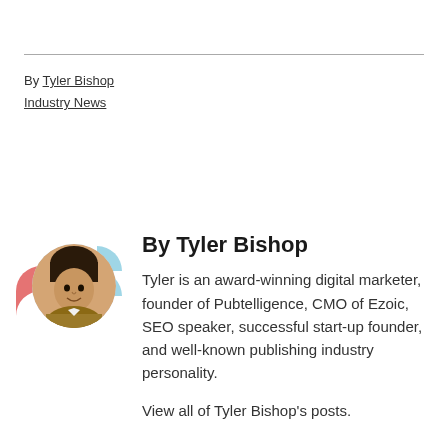By Tyler Bishop
Industry News
[Figure (photo): Circular avatar photo of Tyler Bishop with decorative red and light-blue partial circle arcs behind it]
By Tyler Bishop
Tyler is an award-winning digital marketer, founder of Pubtelligence, CMO of Ezoic, SEO speaker, successful start-up founder, and well-known publishing industry personality.
View all of Tyler Bishop's posts.